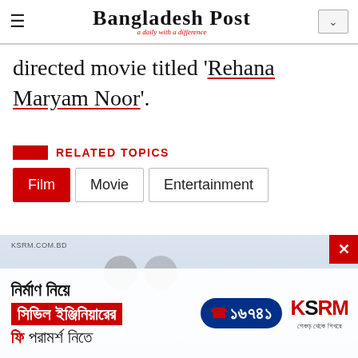Bangladesh Post — a daily with a difference
directed movie titled 'Rehana Maryam Noor'.
RELATED TOPICS
Film
Movie
Entertainment
[Figure (photo): KSRM advertisement banner showing Bengali text about civil engineering consultation, phone number 16741, and KSRM logo]